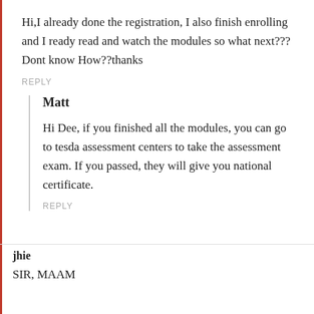Hi,I already done the registration, I also finish enrolling and I ready read and watch the modules so what next??? Dont know How??thanks
REPLY
Matt
Hi Dee, if you finished all the modules, you can go to tesda assessment centers to take the assessment exam. If you passed, they will give you national certificate.
REPLY
jhie
SIR, MAAM